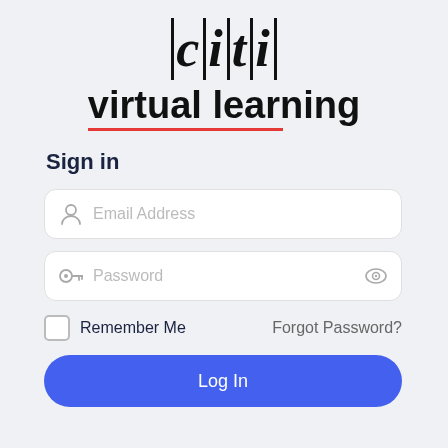[Figure (logo): CITI virtual learning logo with stylized italic text and vertical bars, with a red underline beneath 'virtual']
Sign in
Email Address (input field placeholder)
Password (input field placeholder)
Remember Me
Forgot Password?
Log In